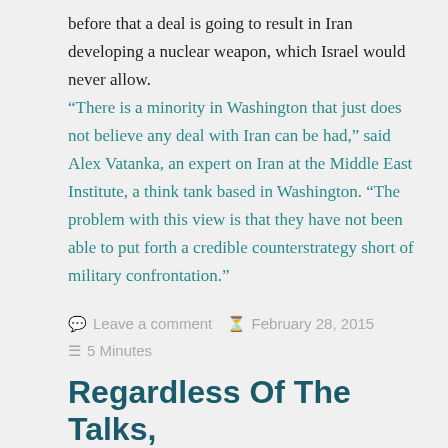before that a deal is going to result in Iran developing a nuclear weapon, which Israel would never allow. “There is a minority in Washington that just does not believe any deal with Iran can be had,” said Alex Vatanka, an expert on Iran at the Middle East Institute, a think tank based in Washington. “The problem with this view is that they have not been able to put forth a credible counterstrategy short of military confrontation.”
Leave a comment  February 28, 2015  5 Minutes
Regardless Of The Talks,